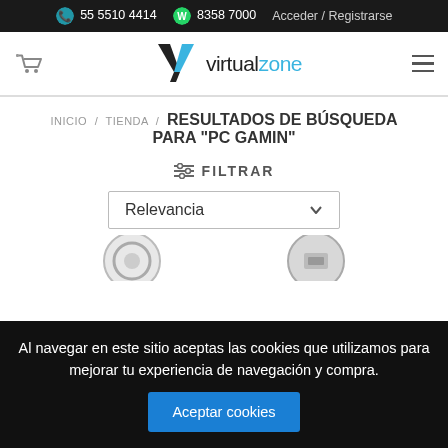55 5510 4414   8358 7000   Acceder / Registrarse
[Figure (logo): VirtualZone logo with shopping cart icon and hamburger menu]
INICIO / TIENDA / RESULTADOS DE BÚSQUEDA PARA "PC GAMIN"
FILTRAR
Relevancia
[Figure (photo): Partial product images visible at bottom of page (gaming PC components)]
Al navegar en este sitio aceptas las cookies que utilizamos para mejorar tu experiencia de navegación y compra. Aceptar cookies